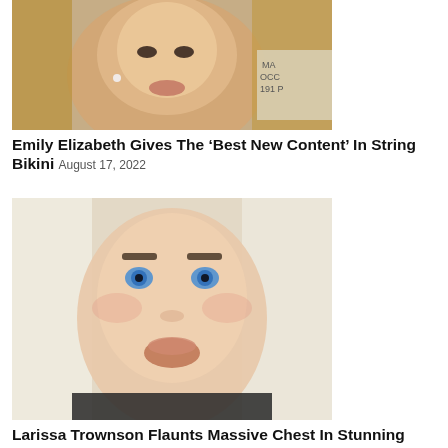[Figure (photo): Close-up selfie of a young woman with blonde hair, pearl earring, wearing makeup, outdoors near what appears to be a gravestone or marker partially visible]
Emily Elizabeth Gives The ‘Best New Content’ In String Bikini August 17, 2022
[Figure (photo): Close-up selfie of a woman with platinum blonde hair, heavy makeup, blue eyes, and full lips]
Larissa Trownson Flaunts Massive Chest In Stunning Black